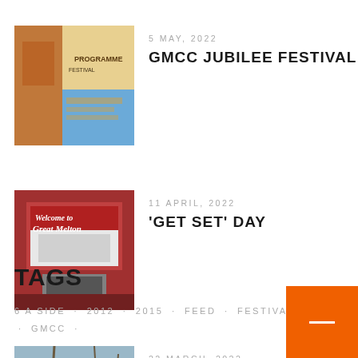[Figure (photo): Thumbnail image of a colorful festival programme/flyer with orange and blue colors]
5 MAY, 2022
GMCC JUBILEE FESTIVAL
[Figure (photo): Thumbnail image showing a 'Welcome to Great Melton' sign indoors]
11 APRIL, 2022
'GET SET' DAY
[Figure (photo): Thumbnail image of a group of people outdoors in a field with bare trees]
22 MARCH, 2022
'GET SET DAY' – TOMORROW!
TAGS
6 A SIDE · 2012 · 2015 · FEED · FESTIVAL · FETE · GMCC ·